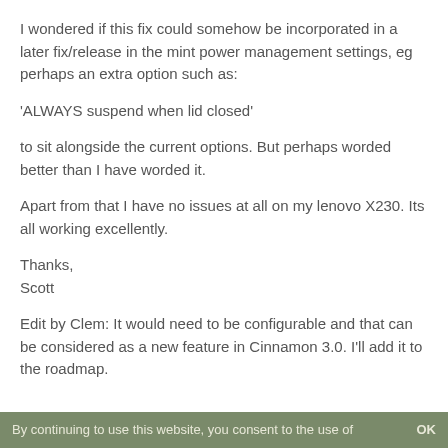I wondered if this fix could somehow be incorporated in a later fix/release in the mint power management settings, eg perhaps an extra option such as:
'ALWAYS suspend when lid closed'
to sit alongside the current options. But perhaps worded better than I have worded it.
Apart from that I have no issues at all on my lenovo X230. Its all working excellently.
Thanks,
Scott
Edit by Clem: It would need to be configurable and that can be considered as a new feature in Cinnamon 3.0. I'll add it to the roadmap.
By continuing to use this website, you consent to the use of   OK